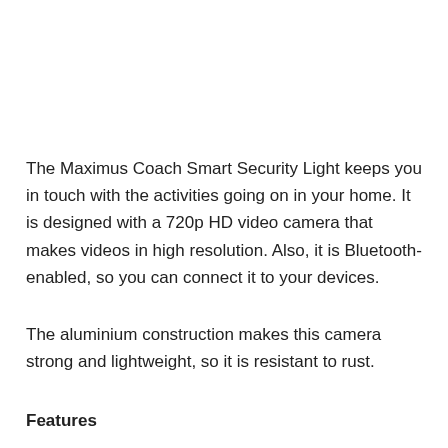The Maximus Coach Smart Security Light keeps you in touch with the activities going on in your home. It is designed with a 720p HD video camera that makes videos in high resolution. Also, it is Bluetooth-enabled, so you can connect it to your devices.
The aluminium construction makes this camera strong and lightweight, so it is resistant to rust.
Features